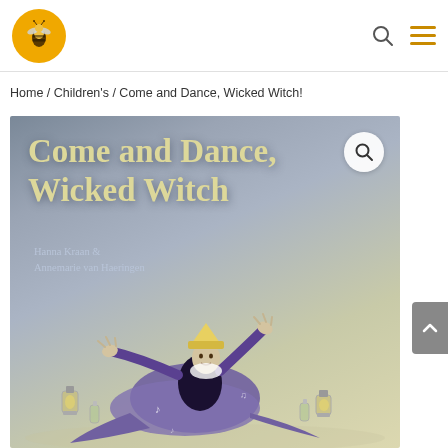Home / Children's / Come and Dance, Wicked Witch!
Home / Children's / Come and Dance, Wicked Witch!
[Figure (photo): Book cover of 'Come and Dance, Wicked Witch' by Hanna Kraan & Annemarie van Haeringen. Features a dancing witch illustration on a grey-green background with yellow-green title text.]